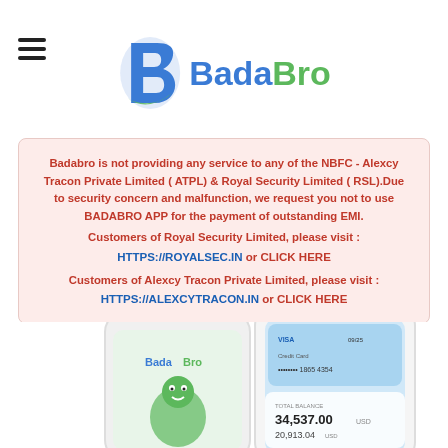[Figure (logo): BadaBro logo with hamburger menu icon — blue stylized B icon, 'Bada' in blue bold text and 'Bro' in green bold text]
Badabro is not providing any service to any of the NBFC - Alexcy Tracon Private Limited ( ATPL) & Royal Security Limited ( RSL).Due to security concern and malfunction, we request you not to use BADABRO APP for the payment of outstanding EMI. Customers of Royal Security Limited, please visit : HTTPS://ROYALSEC.IN or CLICK HERE Customers of Alexcy Tracon Private Limited, please visit : HTTPS://ALEXCYTRACON.IN or CLICK HERE
[Figure (photo): Two smartphones showing the BadaBro app — one with the BadaBro logo and mascot (green character with thumbs up), the other showing a Visa credit card UI with balance 34,537.00 USD and 20,913.04 USD]